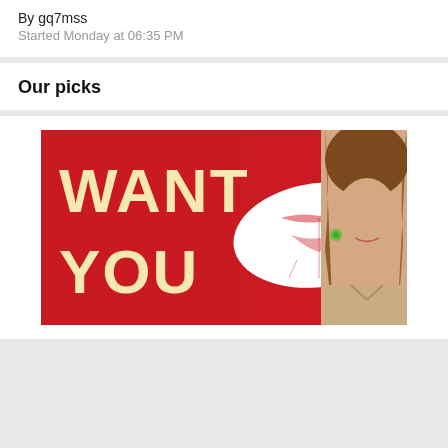By gq7mss
Started Monday at 06:35 PM
Our picks
[Figure (photo): Banner image with red background showing 'WANT YOU' text in large yellow/cream letters with a white lip print graphic, and a woman with brown wavy hair on the right side wearing a beige top.]